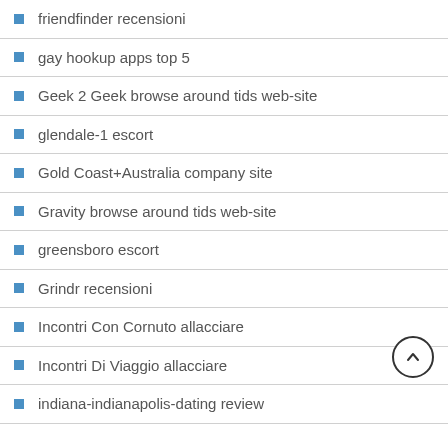friendfinder recensioni
gay hookup apps top 5
Geek 2 Geek browse around tids web-site
glendale-1 escort
Gold Coast+Australia company site
Gravity browse around tids web-site
greensboro escort
Grindr recensioni
Incontri Con Cornuto allacciare
Incontri Di Viaggio allacciare
indiana-indianapolis-dating review